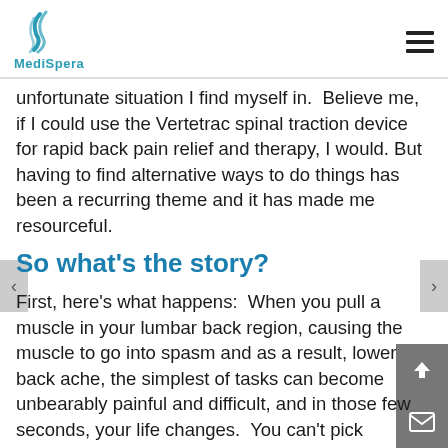MediSpera
unfortunate situation I find myself in.  Believe me, if I could use the Vertetrac spinal traction device for rapid back pain relief and therapy, I would. But having to find alternative ways to do things has been a recurring theme and it has made me resourceful.
So what's the story?
First, here's what happens:  When you pull a muscle in your lumbar back region, causing the muscle to go into spasm and as a result, lower back ache, the simplest of tasks can become unbearably painful and difficult, and in those few seconds, your life changes.  You can't pick something off the floor, you can't bend to tie your shoelaces, or put the